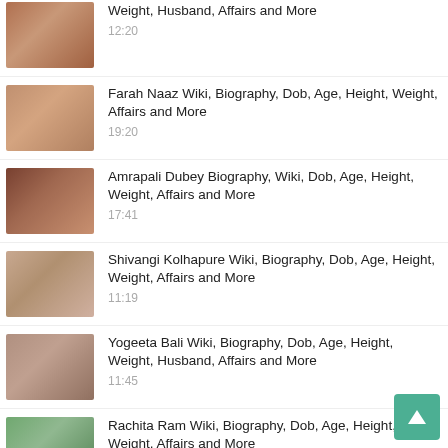Weight, Husband, Affairs and More
12:20
Farah Naaz Wiki, Biography, Dob, Age, Height, Weight, Affairs and More
19:20
Amrapali Dubey Biography, Wiki, Dob, Age, Height, Weight, Affairs and More
17:41
Shivangi Kolhapure Wiki, Biography, Dob, Age, Height, Weight, Affairs and More
11:19
Yogeeta Bali Wiki, Biography, Dob, Age, Height, Weight, Husband, Affairs and More
11:45
Rachita Ram Wiki, Biography, Dob, Age, Height, Weight, Affairs and More
23:54